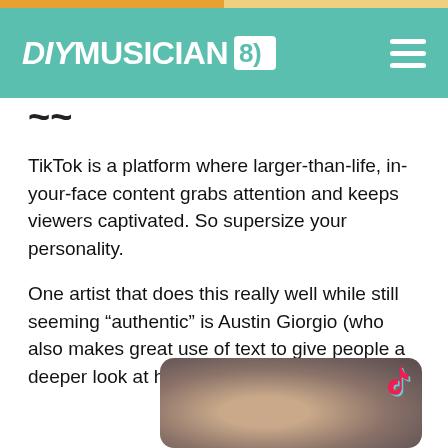DIYMUSICIAN
~~
TikTok is a platform where larger-than-life, in-your-face content grabs attention and keeps viewers captivated. So supersize your personality.
One artist that does this really well while still seeming “authentic” is Austin Giorgio (who also makes great use of text to give people a deeper look at his songs):
[Figure (screenshot): Video thumbnail showing a close-up of a young man's face with a TikTok logo in the upper right corner]